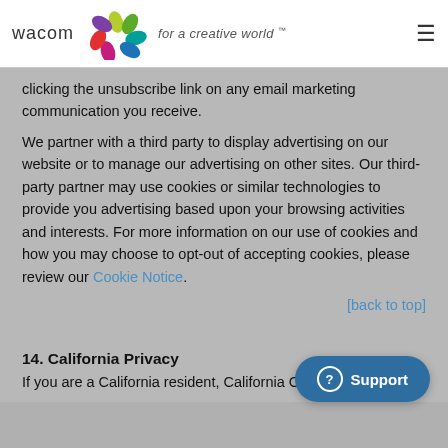wacom for a creative world
clicking the unsubscribe link on any email marketing communication you receive.
We partner with a third party to display advertising on our website or to manage our advertising on other sites. Our third-party partner may use cookies or similar technologies to provide you advertising based upon your browsing activities and interests. For more information on our use of cookies and how you may choose to opt-out of accepting cookies, please review our Cookie Notice.
[back to top]
14. California Privacy
If you are a California resident, California Civil Code